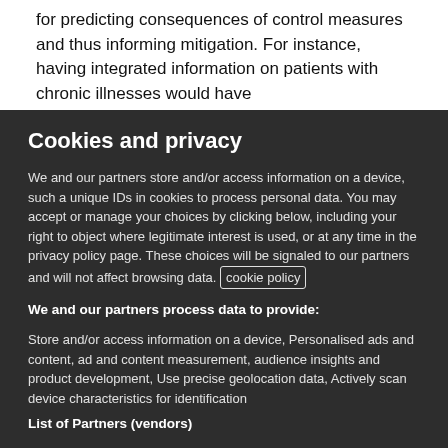for predicting consequences of control measures and thus informing mitigation. For instance, having integrated information on patients with chronic illnesses would have
Cookies and privacy
We and our partners store and/or access information on a device, such a unique IDs in cookies to process personal data. You may accept or manage your choices by clicking below, including your right to object where legitimate interest is used, or at any time in the privacy policy page. These choices will be signaled to our partners and will not affect browsing data. cookie policy
We and our partners process data to provide:
Store and/or access information on a device, Personalised ads and content, ad and content measurement, audience insights and product development, Use precise geolocation data, Actively scan device characteristics for identification
List of Partners (vendors)
I Accept